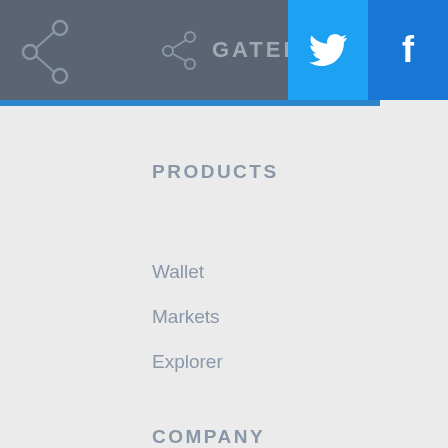GATEHUB
PRODUCTS
Wallet
Markets
Explorer
COMPANY
About
Blog